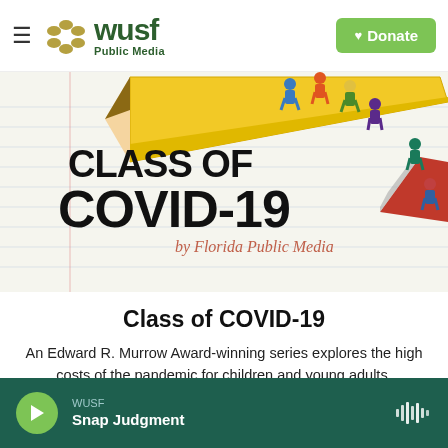WUSF Public Media — Donate
[Figure (illustration): Class of COVID-19 by Florida Public Media illustration: children running along a giant pencil on a ruled notebook paper background. Bold black text 'CLASS OF COVID-19' and salmon/coral text 'by Florida Public Media'.]
Class of COVID-19
An Edward R. Murrow Award-winning series explores the high costs of the pandemic for children and young adults.
Learn More
WUSF — Snap Judgment